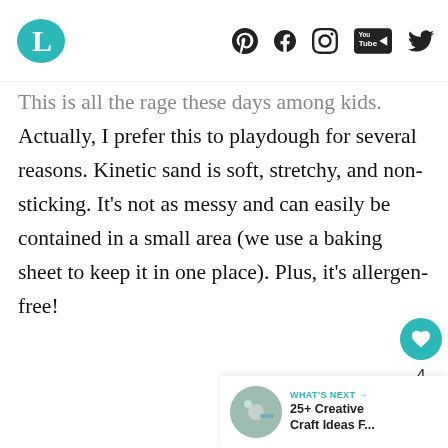Logo and social icons: Pinterest, Facebook, Instagram, YouTube, Twitter
This is all the rage these days among kids. Actually, I prefer this to playdough for several reasons. Kinetic sand is soft, stretchy, and non-sticking. It’s not as messy and can easily be contained in a small area (we use a baking sheet to keep it in one place). Plus, it’s allergen-free!
[Figure (infographic): UI overlay with heart/like button (teal circle with heart icon), count of 4, and share button (white circle with share icon)]
[Figure (infographic): What's Next panel: thumbnail image, label 'WHAT'S NEXT →', title '25+ Creative Craft Ideas F...']